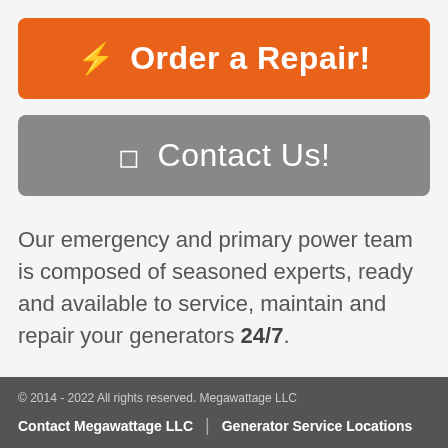[Figure (infographic): Orange rounded button with lightning bolt icon and text '⚡ Order a Repair!']
[Figure (infographic): Gray rounded button with phone icon and text '☐ Contact Us!']
Our emergency and primary power team is composed of seasoned experts, ready and available to service, maintain and repair your generators 24/7.
© 2014 - 2022 All rights reserved. Megawattage LLC | Contact Megawattage LLC | Generator Service Locations